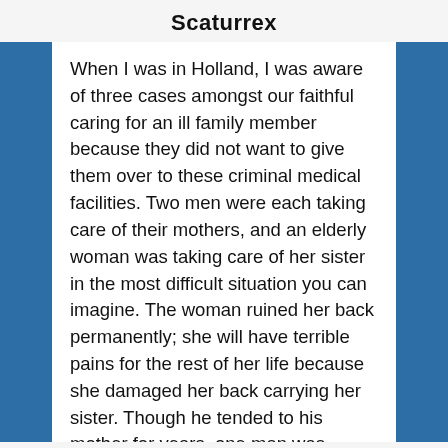Scaturrex
When I was in Holland, I was aware of three cases amongst our faithful caring for an ill family member because they did not want to give them over to these criminal medical facilities. Two men were each taking care of their mothers, and an elderly woman was taking care of her sister in the most difficult situation you can imagine. The woman ruined her back permanently; she will have terrible pains for the rest of her life because she damaged her back carrying her sister. Though he tended to his mother for years, one man was called a sadist by the nurses because he refused “mortification” for her. The other man was questioned for hours by ten doctors because he